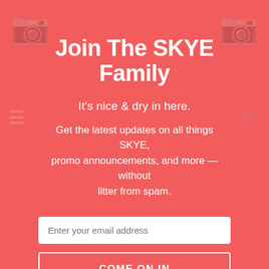Join The SKYE Family
It's nice & dry in here.
Get the latest updates on all things SKYE, promo announcements, and more — without litter from spam.
Enter your email address
COME ON IN
By entering your email address, you agree to receive our marketing offers in accordance with our Privacy Policy. You can unsubscribe at any time by clicking on the unsubscribe link at the bottom of our emails.